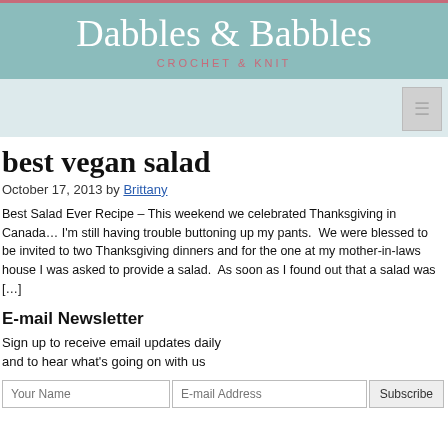Dabbles & Babbles CROCHET & KNIT
best vegan salad
October 17, 2013 by Brittany
Best Salad Ever Recipe – This weekend we celebrated Thanksgiving in Canada… I'm still having trouble buttoning up my pants.  We were blessed to be invited to two Thanksgiving dinners and for the one at my mother-in-laws house I was asked to provide a salad.  As soon as I found out that a salad was […]
E-mail Newsletter
Sign up to receive email updates daily and to hear what's going on with us